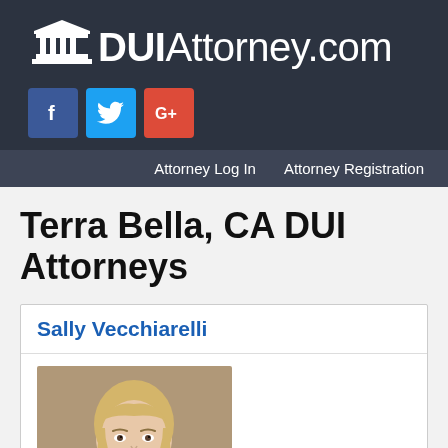[Figure (logo): DUIAttorney.com logo with courthouse icon on dark background]
[Figure (infographic): Social media buttons: Facebook (blue), Twitter (light blue), Google+ (red)]
Attorney Log In    Attorney Registration
Terra Bella, CA DUI Attorneys
Sally Vecchiarelli
[Figure (photo): Professional headshot of Sally Vecchiarelli, a blonde woman in a dark top, against a warm brown background]